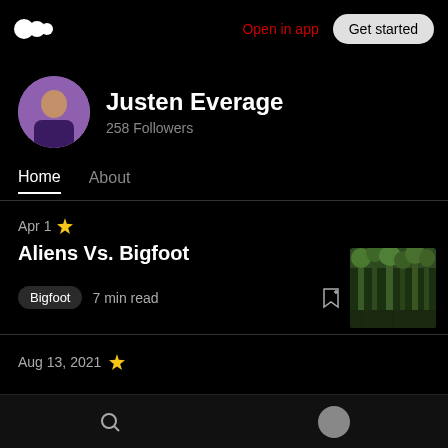Open in app  Get started
Justen Everage
258 Followers
Home  About
Apr 1 ✦
Aliens Vs. Bigfoot
Bigfoot  7 min read
[Figure (photo): Forest thumbnail image showing dense green trees]
Aug 13, 2021 ✦